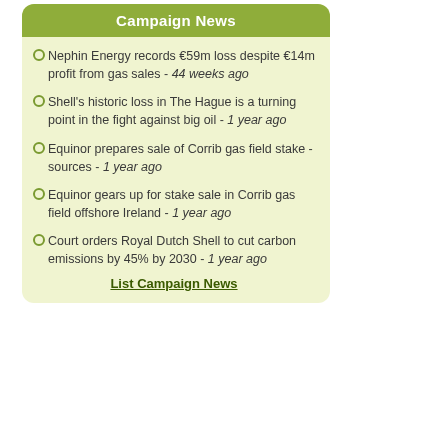Campaign News
Nephin Energy records €59m loss despite €14m profit from gas sales - 44 weeks ago
Shell's historic loss in The Hague is a turning point in the fight against big oil - 1 year ago
Equinor prepares sale of Corrib gas field stake -sources - 1 year ago
Equinor gears up for stake sale in Corrib gas field offshore Ireland - 1 year ago
Court orders Royal Dutch Shell to cut carbon emissions by 45% by 2030 - 1 year ago
List Campaign News
Other News
Fundraiser set up in aid of couple who passed away - 1 year ago
Shell Returns to Irish Energy